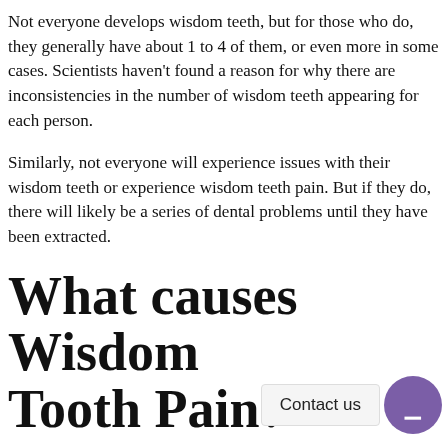Not everyone develops wisdom teeth, but for those who do, they generally have about 1 to 4 of them, or even more in some cases. Scientists haven't found a reason for why there are inconsistencies in the number of wisdom teeth appearing for each person.
Similarly, not everyone will experience issues with their wisdom teeth or experience wisdom teeth pain. But if they do, there will likely be a series of dental problems until they have been extracted.
What causes Wisdom Tooth Pain?
When our wisdom teeth hurt, it is likely due to the following reasons: